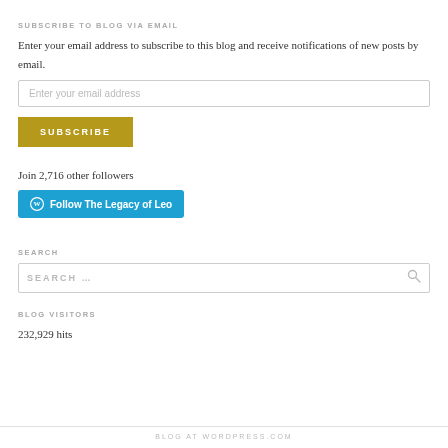SUBSCRIBE TO BLOG VIA EMAIL
Enter your email address to subscribe to this blog and receive notifications of new posts by email.
Join 2,716 other followers
SEARCH
BLOG VISITORS
232,929 hits
BLOG AT WORDPRESS.COM